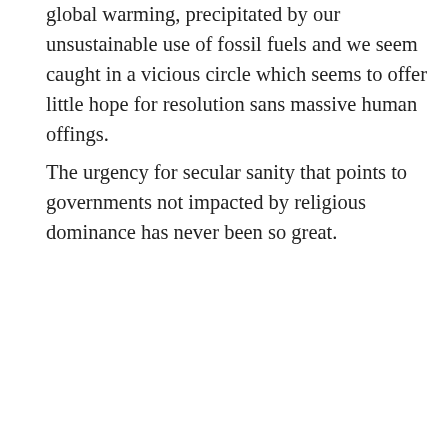global warming, precipitated by our unsustainable use of fossil fuels and we seem caught in a vicious circle which seems to offer little hope for resolution sans massive human offings.
The urgency for secular sanity that points to governments not impacted by religious dominance has never been so great.
[Figure (photo): Headshot photo of Donald A. Collins wearing a dark cap and sunglasses with a red jacket, with a tall sailing ship visible in the background on the water.]
Former US Navy officer, banker and venture capitalist, Donald A. Collins, a free lance writer living in Washington, DC., has spent over 40 years working for women's reproductive health as a board member and/or officer of numerous family planning organizations including Planned